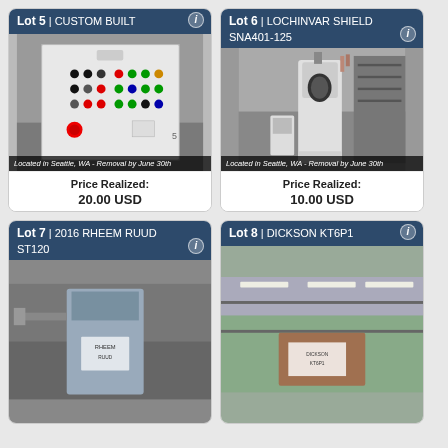Lot 5 | CUSTOM BUILT
[Figure (photo): Control panel with colored buttons and switches, white metal enclosure]
Located in Seattle, WA - Removal by June 30th
Price Realized: 20.00 USD
Lot 6 | LOCHINVAR SHIELD SNA401-125
[Figure (photo): Lochinvar Shield water heater unit in warehouse setting]
Located in Seattle, WA - Removal by June 30th
Price Realized: 10.00 USD
Lot 7 | 2016 RHEEM RUUD ST120
[Figure (photo): Rheem Ruud ST120 water heater partially visible]
Lot 8 | DICKSON KT6P1
[Figure (photo): Dickson KT6P1 item in warehouse, partially visible]